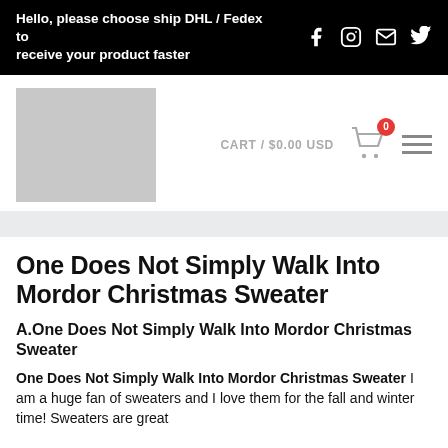Hello, please choose ship DHL / Fedex to receive your product faster
[Figure (logo): Gray placeholder logo square in site header with cart icon showing $0.00 USD and badge 0, hamburger menu icon]
One Does Not Simply Walk Into Mordor Christmas Sweater
A.One Does Not Simply Walk Into Mordor Christmas Sweater
One Does Not Simply Walk Into Mordor Christmas Sweater I am a huge fan of sweaters and I love them for the fall and winter time! Sweaters are great